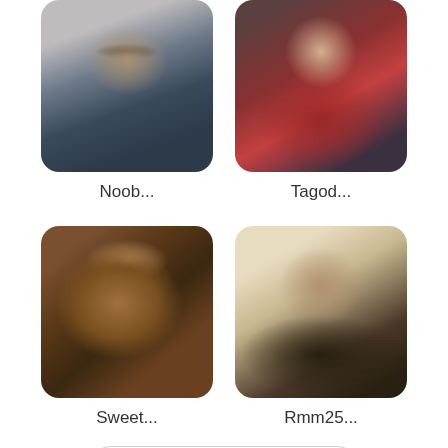[Figure (photo): Blurred photo of a man wearing sunglasses, dark blue tank top, grayish background]
[Figure (photo): Blurred photo of a person in a red top with dark background]
Noob...
Tagod...
[Figure (photo): Close-up blurred photo of a person with dark warm tones]
[Figure (photo): Blurred photo of a man with beige/cream background and dark shirt]
Sweet...
Rmm25...
See More New Profiles